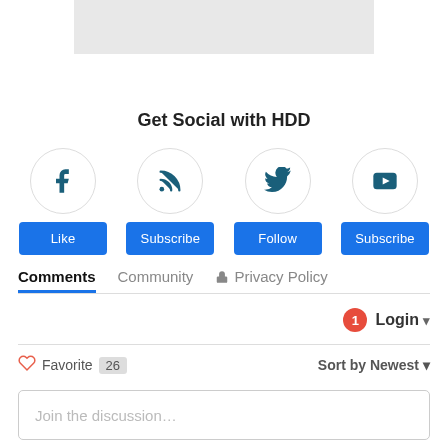[Figure (screenshot): Gray banner image at the top]
Get Social with HDD
[Figure (infographic): Four social media icons (Facebook, RSS, Twitter, YouTube) in circles with buttons: Like, Subscribe, Follow, Subscribe]
Comments  Community  Privacy Policy
1  Login
Favorite  26  Sort by Newest
Join the discussion...